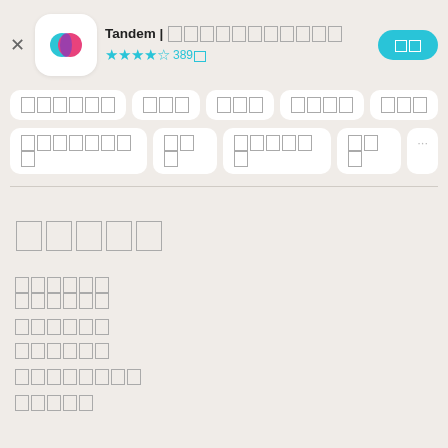Tandem | 언어교환 파트너 찾기
★★★★½ 389개
열기
카테고리 태그 행 1
카테고리 태그 행 2
설명
개요 링크들